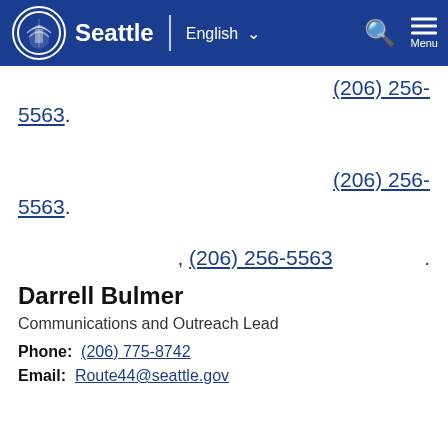City of Seattle — English — Search — Menu
(206) 256-5563.
(206) 256-5563.
, (206) 256-5563 .
Darrell Bulmer
Communications and Outreach Lead
Phone: (206) 775-8742
Email: Route44@seattle.gov